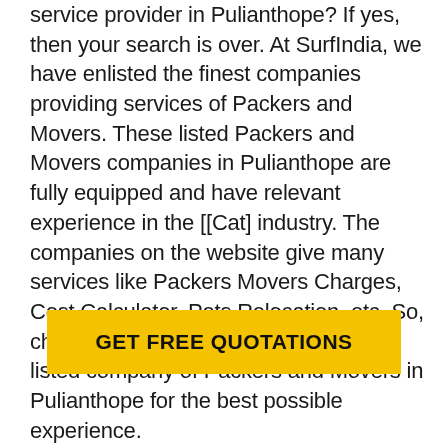service provider in Pulianthope? If yes, then your search is over. At SurfIndia, we have enlisted the finest companies providing services of Packers and Movers. These listed Packers and Movers companies in Pulianthope are fully equipped and have relevant experience in the [[Cat] industry. The companies on the website give many services like Packers Movers Charges, Cost Calculator, Pets Relocation, etc. So, check out the list below and hire any listed company of Packers and Movers in Pulianthope for the best possible experience.
GET FREE QUOTATIONS